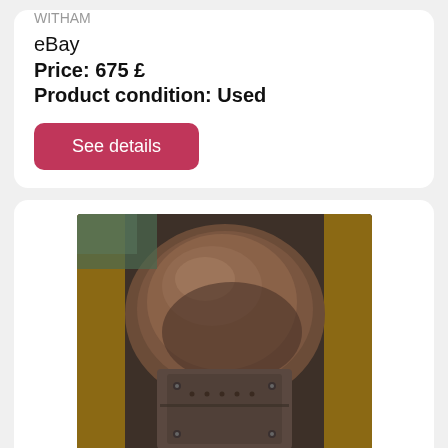WITHAM
eBay
Price: 675 £
Product condition: Used
See details
[Figure (photo): Photo of a used Ford Essex V6 Overdrive 4 Speed Gearbox Transmission, showing a rusty/worn gearbox unit from above]
Ford Essex V6 Overdrive 4 Speed Gearbox Transmissi
Ford Essex V6 Overdrive 4 Speed Gearbox